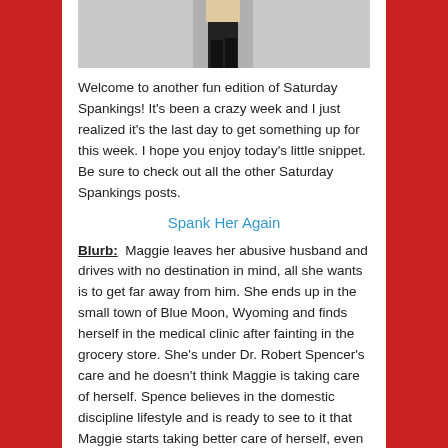[Figure (photo): Partial image of a figure/person at the top of the page, cropped, showing lower portion]
Welcome to another fun edition of Saturday Spankings! It's been a crazy week and I just realized it's the last day to get something up for this week. I hope you enjoy today's little snippet. Be sure to check out all the other Saturday Spankings posts.
Spank Her Again
Blurb:  Maggie leaves her abusive husband and drives with no destination in mind, all she wants is to get far away from him. She ends up in the small town of Blue Moon, Wyoming and finds herself in the medical clinic after fainting in the grocery store. She's under Dr. Robert Spencer's care and he doesn't think Maggie is taking care of herself. Spence believes in the domestic discipline lifestyle and is ready to see to it that Maggie starts taking better care of herself, even if it means putting her over his knee and reddening her backside. But Maggie just left an abusive relationship and is unsure if she wants to get